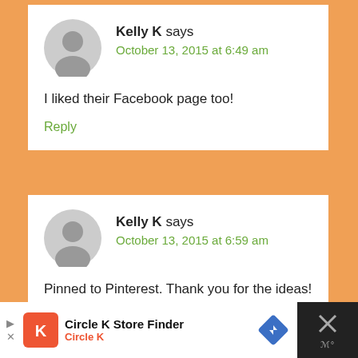Kelly K says
October 13, 2015 at 6:49 am
I liked their Facebook page too!
Reply
Kelly K says
October 13, 2015 at 6:59 am
Pinned to Pinterest. Thank you for the ideas!
Reply
[Figure (infographic): Advertisement bar for Circle K Store Finder with Circle K logo, navigation arrow icon, close button with X]
Circle K Store Finder
Circle K